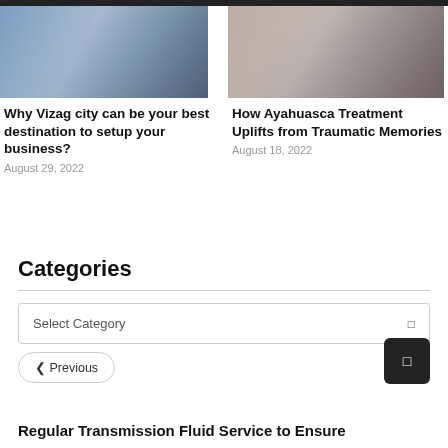[Figure (photo): Business meeting photo showing laptop and people writing]
[Figure (photo): Doctor or medical professional holding a tablet]
Why Vizag city can be your best destination to setup your business?
August 29, 2022
How Ayahuasca Treatment Uplifts from Traumatic Memories
August 18, 2022
Categories
Select Category
❮ Previous
Regular Transmission Fluid Service to Ensure